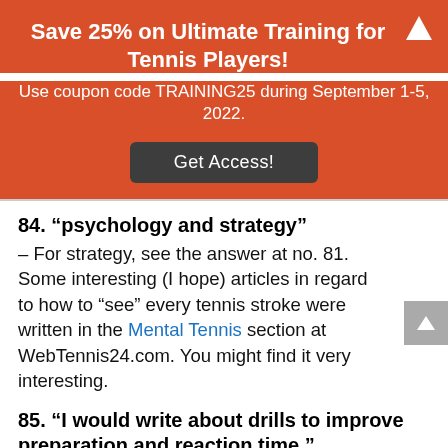Save 25% on Ultimate Training for Tennis Players!
Use coupon code TRAINING25 during September 1-5, 2022.
Get Access!
84. “psychology and strategy”
– For strategy, see the answer at no. 81. Some interesting (I hope) articles in regard to how to “see” every tennis stroke were written in the Mental Tennis section at WebTennis24.com. You might find it very interesting.
85. “I would write about drills to improve preparation and reaction time.”
– My suggestion is for you to consciously